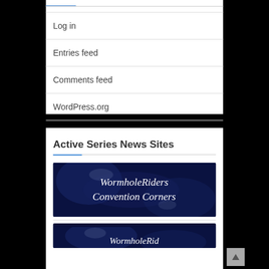Log in
Entries feed
Comments feed
WordPress.org
Active Series News Sites
[Figure (illustration): WormholeRiders Convention Corners banner — dark blue background with italic white text reading 'WormholeRiders Convention Corners']
[Figure (illustration): Partial WormholeRiders banner — dark blue background, partially visible italic white text]